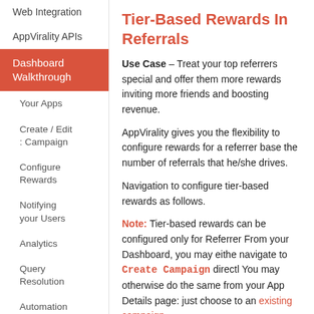Web Integration
AppVirality APIs
Dashboard Walkthrough
Your Apps
Create / Edit : Campaign
Configure Rewards
Notifying your Users
Analytics
Query Resolution
Automation
Add / Manage
Tier-Based Rewards In Referrals
Use Case – Treat your top referrers special and offer them more rewards inviting more friends and boosting revenue.
AppVirality gives you the flexibility to configure rewards for a referrer based the number of referrals that he/she drives.
Navigation to configure tier-based rewards as follows.
Note: Tier-based rewards can be configured only for Referrer From your Dashboard, you may either navigate to Create Campaign directly. You may otherwise do the same from your App Details page: just choose to an existing campaign.